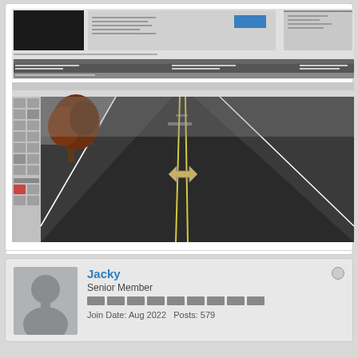[Figure (screenshot): Software UI screenshot showing a dialog or property panel with dark header bars and small interface elements]
[Figure (screenshot): 3D game engine editor screenshot showing a two-lane road with yellow center lines, a bare tree on the left, foggy atmosphere, and an arrow marker in the center of the road. Toolbar and side panel visible.]
Jacky
Senior Member
Join Date: Aug 2022   Posts: 579